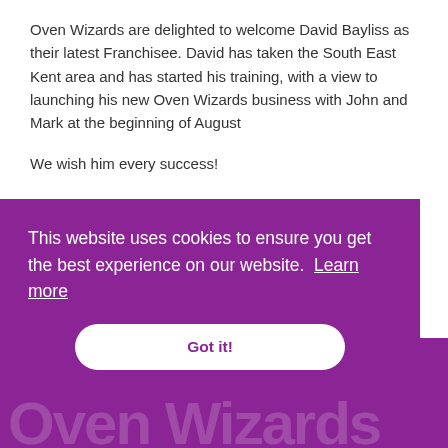Oven Wizards are delighted to welcome David Bayliss as their latest Franchisee. David has taken the South East Kent area and has started his training, with a view to launching his new Oven Wizards business with John and Mark at the beginning of August
We wish him every success!
If you would like to follow David and join Oven Wizards, please feel free to give us a call for an informal chat on 07590 536 425 or visit our website at www.ovenwizards.com/franchise
Posted by johncraham@ovenwizards.com at
This website uses cookies to ensure you get the best experience on our website. Learn more
Got it!